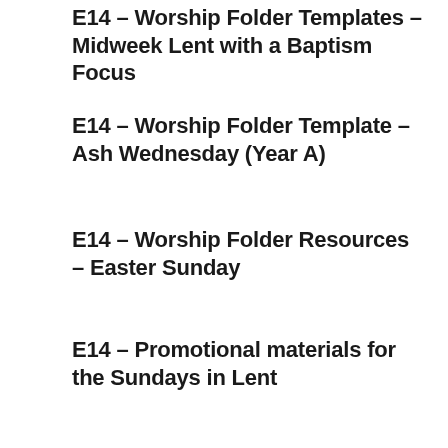E14 – Worship Folder Templates – Midweek Lent with a Baptism Focus
E14 – Worship Folder Template – Ash Wednesday (Year A)
E14 – Worship Folder Resources – Easter Sunday
E14 – Promotional materials for the Sundays in Lent